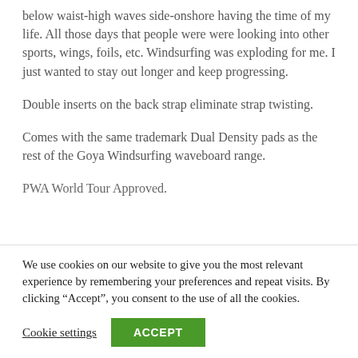below waist-high waves side-onshore having the time of my life. All those days that people were were looking into other sports, wings, foils, etc. Windsurfing was exploding for me. I just wanted to stay out longer and keep progressing.
Double inserts on the back strap eliminate strap twisting.
Comes with the same trademark Dual Density pads as the rest of the Goya Windsurfing waveboard range.
PWA World Tour Approved.
We use cookies on our website to give you the most relevant experience by remembering your preferences and repeat visits. By clicking “Accept”, you consent to the use of all the cookies.